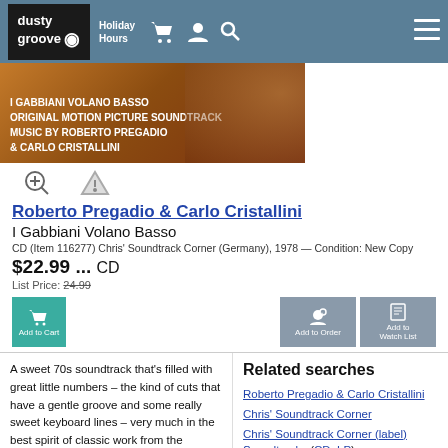dusty groove | Holiday Hours
[Figure (photo): Album cover banner for I Gabbiani Volano Basso, orange/brown tones with bold white text overlay]
Roberto Pregadio & Carlo Cristallini
I Gabbiani Volano Basso
CD (Item 116277) Chris' Soundtrack Corner (Germany), 1978 — Condition: New Copy
$22.99 ... CD
List Price: 24.99
A sweet 70s soundtrack that's filled with great little numbers – the kind of cuts that have a gentle groove and some really sweet keyboard lines – very much in the best spirit of classic work from the decade by contemporary Stelvio Cipriani! We've always loved the work of Roberto Pregadio, but he seems to have an extra special sort of sound
Related searches
Roberto Pregadio & Carlo Cristallini
Chris' Soundtrack Corner
Chris' Soundtrack Corner (label)
Soundtracks (CD, LP)